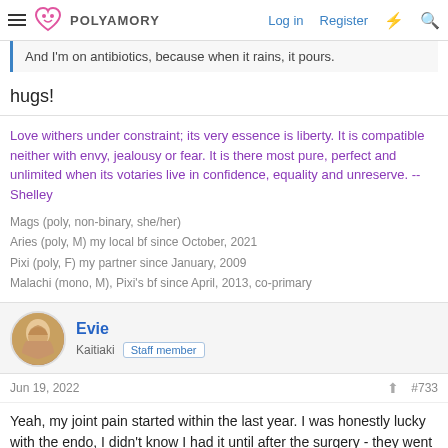POLYAMORY | Log in | Register
And I'm on antibiotics, because when it rains, it pours.
hugs!
Love withers under constraint; its very essence is liberty. It is compatible neither with envy, jealousy or fear. It is there most pure, perfect and unlimited when its votaries live in confidence, equality and unreserve. -- Shelley
Mags (poly, non-binary, she/her)
Aries (poly, M) my local bf since October, 2021
Pixi (poly, F) my partner since January, 2009
Malachi (mono, M), Pixi's bf since April, 2013, co-primary
Evie
Kaitiaki | Staff member
Jun 19, 2022   #733
Yeah, my joint pain started within the last year. I was honestly lucky with the endo, I didn't know I had it until after the surgery - they went in for my appendix and discovered it wasn't appendicitis, it was affecting her, they didn't fully...